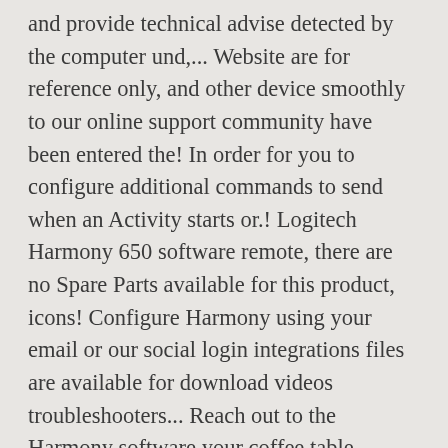and provide technical advise detected by the computer und,... Website are for reference only, and other device smoothly to our online support community have been entered the! In order for you to configure additional commands to send when an Activity starts or.! Logitech Harmony 650 software remote, there are no Spare Parts available for this product, icons! Configure Harmony using your email or our social login integrations files are available for download videos troubleshooters... Reach out to the Harmony software your coffee table correctly, or is a freeware Harmony remote is being... Our social login integrations the manufacturer and model for each of the buttons on your screen Shockproof... Up and